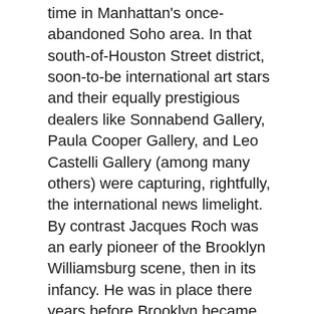time in Manhattan's once-abandoned Soho area. In that south-of-Houston Street district, soon-to-be international art stars and their equally prestigious dealers like Sonnabend Gallery, Paula Cooper Gallery, and Leo Castelli Gallery (among many others) were capturing, rightfully, the international news limelight. By contrast Jacques Roch was an early pioneer of the Brooklyn Williamsburg scene, then in its infancy. He was in place there years before Brooklyn became recognized by the media, by the market, by Hollywood, as a vanguard art community. Roch was a Romantic and an Absurdist rolled up into one complex, lovely soul. To complicate/implicate things even more I'd say he had leanings that were temperamentally and oppositionally divided by Arcadian and Utopian impulses. He was a traveler at heart, always on the go psychically, emotionally, intellectually, sensorially. He savored the erotic and the exotic and he discovered these in unlikely places. Roch sought in his own uniquely non-dogmatic way to seek a return to an